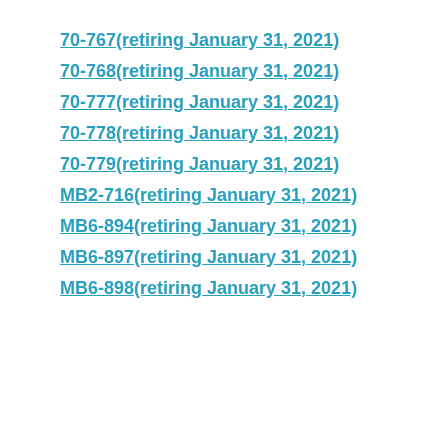70-767(retiring January 31, 2021)
70-768(retiring January 31, 2021)
70-777(retiring January 31, 2021)
70-778(retiring January 31, 2021)
70-779(retiring January 31, 2021)
MB2-716(retiring January 31, 2021)
MB6-894(retiring January 31, 2021)
MB6-897(retiring January 31, 2021)
MB6-898(retiring January 31, 2021)